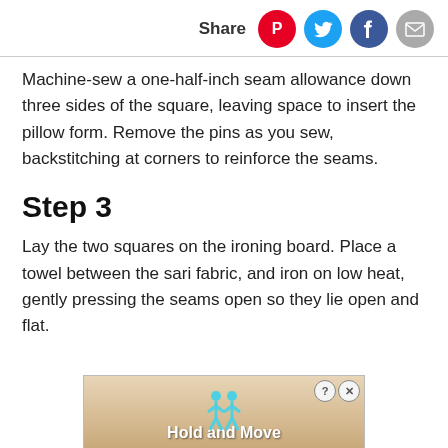Share
Machine-sew a one-half-inch seam allowance down three sides of the square, leaving space to insert the pillow form. Remove the pins as you sew, backstitching at corners to reinforce the seams.
Step 3
Lay the two squares on the ironing board. Place a towel between the sari fabric, and iron on low heat, gently pressing the seams open so they lie open and flat.
[Figure (screenshot): Advertisement banner showing animated characters with text 'Hold and Move']